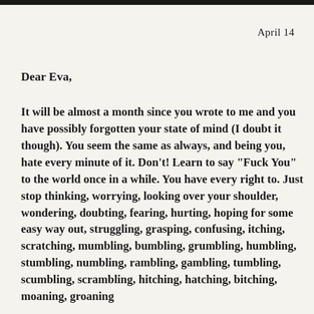April 14
Dear Eva,
It will be almost a month since you wrote to me and you have possibly forgotten your state of mind (I doubt it though). You seem the same as always, and being you, hate every minute of it. Don't! Learn to say "Fuck You" to the world once in a while. You have every right to. Just stop thinking, worrying, looking over your shoulder, wondering, doubting, fearing, hurting, hoping for some easy way out, struggling, grasping, confusing, itching, scratching, mumbling, bumbling, grumbling, humbling, stumbling, numbling, rambling, gambling, tumbling, scumbling, scrambling, hitching, hatching, bitching, moaning, groaning